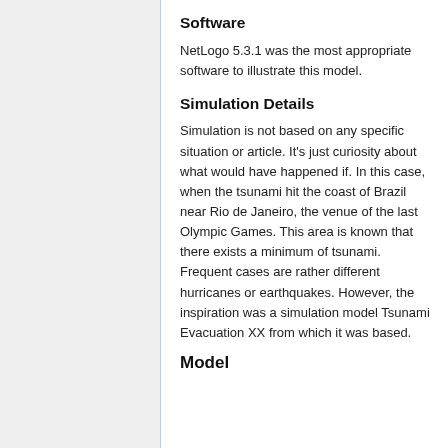Software
NetLogo 5.3.1 was the most appropriate software to illustrate this model.
Simulation Details
Simulation is not based on any specific situation or article. It's just curiosity about what would have happened if. In this case, when the tsunami hit the coast of Brazil near Rio de Janeiro, the venue of the last Olympic Games. This area is known that there exists a minimum of tsunami. Frequent cases are rather different hurricanes or earthquakes. However, the inspiration was a simulation model Tsunami Evacuation XX from which it was based.
Model